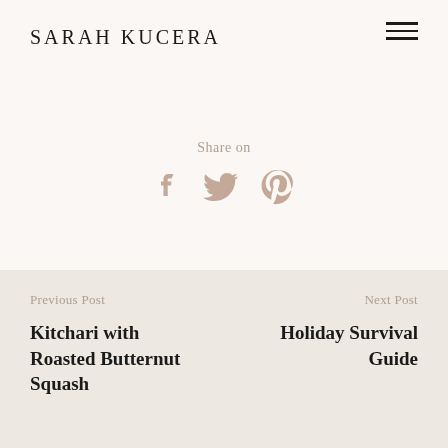SARAH KUCERA
Share on
[Figure (other): Social media share icons: Facebook, Twitter, Pinterest]
Previous Post
Kitchari with Roasted Butternut Squash
Next Post
Holiday Survival Guide